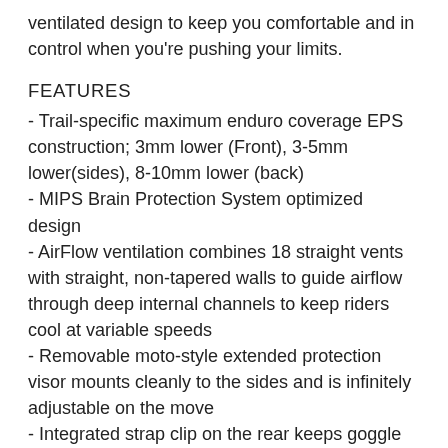ventilated design to keep you comfortable and in control when you're pushing your limits.
FEATURES
- Trail-specific maximum enduro coverage EPS construction; 3mm lower (Front), 3-5mm lower(sides), 8-10mm lower (back)
- MIPS Brain Protection System optimized design
- AirFlow ventilation combines 18 straight vents with straight, non-tapered walls to guide airflow through deep internal channels to keep riders cool at variable speeds
- Removable moto-style extended protection visor mounts cleanly to the sides and is infinitely adjustable on the move
- Integrated strap clip on the rear keeps goggle straps in position and prevents them from falling off during a crash
- Low-speed and high-speed impact-tuned construction with Direct Support vents, optimized low-density EPS, and ultra-thin toughened polycarbonate shells all in-mold bonded together
- Element Strap System (ESS) brings together Cinch One Pro